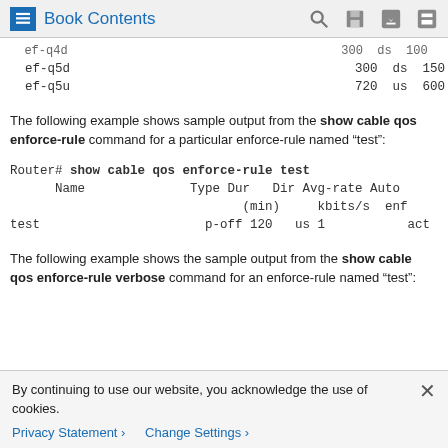Book Contents
| Name | Type | Dur | Dir | Avg-rate | Auto enf |
| --- | --- | --- | --- | --- | --- |
| ef-q4d (partial) |  | 300 | ds | 100 |  |
| ef-q5d |  | 300 | ds | 150 |  |
| ef-q5u |  | 720 | us | 600 |  |
The following example shows sample output from the show cable qos enforce-rule command for a particular enforce-rule named “test”:
| Name | Type | Dur (min) | Dir | Avg-rate kbits/s | Auto enf |
| --- | --- | --- | --- | --- | --- |
| test | p-off | 120 | us | 1 | act |
The following example shows the sample output from the show cable qos enforce-rule verbose command for an enforce-rule named “test”: